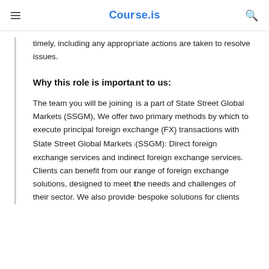Course.is
timely, including any appropriate actions are taken to resolve issues.
Why this role is important to us:
The team you will be joining is a part of State Street Global Markets (SSGM), We offer two primary methods by which to execute principal foreign exchange (FX) transactions with State Street Global Markets (SSGM): Direct foreign exchange services and indirect foreign exchange services. Clients can benefit from our range of foreign exchange solutions, designed to meet the needs and challenges of their sector. We also provide bespoke solutions for clients